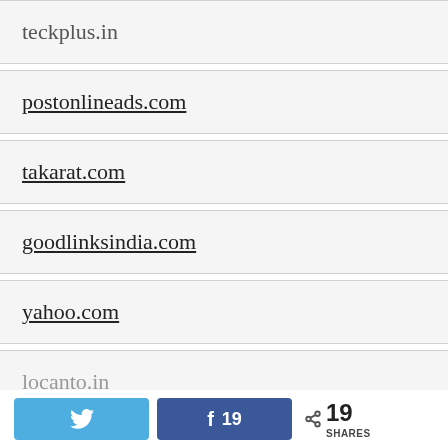teckplus.in
postonlineads.com
takarat.com
goodlinksindia.com
yahoo.com
locanto.in
afreeads.in
vare.in
19 SHARES